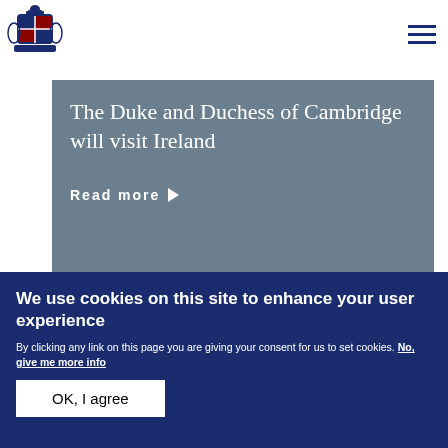[Figure (logo): Royal coat of arms / British government crest logo in blue/navy]
The Duke and Duchess of Cambridge will visit Ireland
Read more ▶
We use cookies on this site to enhance your user experience
By clicking any link on this page you are giving your consent for us to set cookies. No, give me more info
OK, I agree